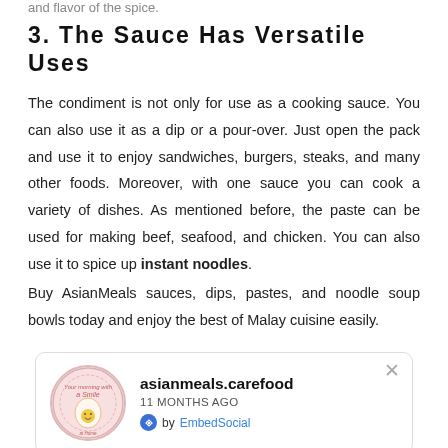and flavor of the spice.
3. The Sauce Has Versatile Uses
The condiment is not only for use as a cooking sauce. You can also use it as a dip or a pour-over. Just open the pack and use it to enjoy sandwiches, burgers, steaks, and many other foods. Moreover, with one sauce you can cook a variety of dishes. As mentioned before, the paste can be used for making beef, seafood, and chicken. You can also use it to spice up instant noodles.
Buy AsianMeals sauces, dips, pastes, and noodle soup bowls today and enjoy the best of Malay cuisine easily.
[Figure (other): Social media embed card showing asianmeals.carefood profile with logo avatar, posted 11 months ago, by EmbedSocial with close button]